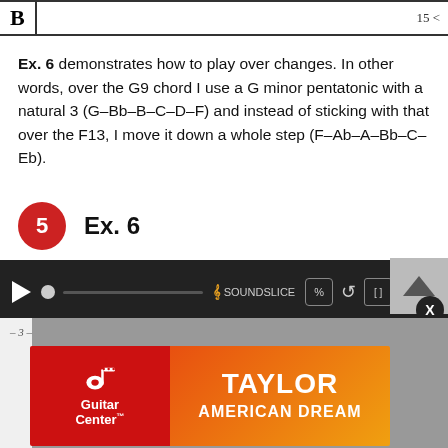[Figure (other): Top portion of a music notation bar showing 'B' at left and number at right edge, partial view]
Ex. 6 demonstrates how to play over changes. In other words, over the G9 chord I use a G minor pentatonic with a natural 3 (G-Bb-B-C-D-F) and instead of sticking with that over the F13, I move it down a whole step (F-Ab-A-Bb-C-Eb).
5   Ex. 6
[Figure (other): Soundslice audio player with play button, scrubber, and controls on dark background]
[Figure (other): Advertisement banner for Guitar Center Taylor American Dream promotion, with Guitar Center logo on red background and Taylor American Dream text on orange gradient background]